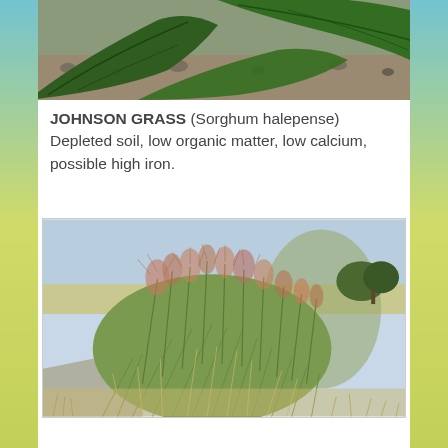[Figure (photo): Close-up photograph of large green leaves on soil — top portion of page, cropped]
JOHNSON GRASS (Sorghum halepense) Depleted soil, low organic matter, low calcium, possible high iron.
[Figure (photo): Photograph of Johnson Grass (Sorghum halepense) growing in a large clump along a roadside, with feathery seed heads, sky in background]